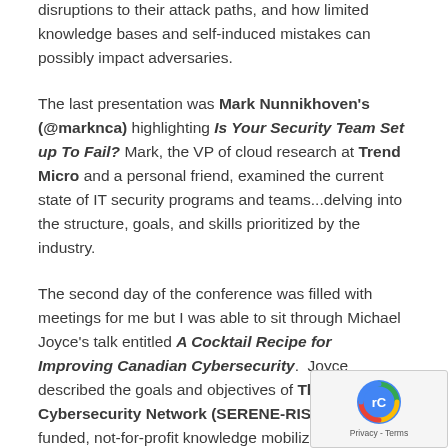disruptions to their attack paths, and how limited knowledge bases and self-induced mistakes can possibly impact adversaries.
The last presentation was Mark Nunnikhoven's (@marknca) highlighting Is Your Security Team Set up To Fail? Mark, the VP of cloud research at Trend Micro and a personal friend, examined the current state of IT security programs and teams...delving into the structure, goals, and skills prioritized by the industry.
The second day of the conference was filled with meetings for me but I was able to sit through Michael Joyce's talk entitled A Cocktail Recipe for Improving Canadian Cybersecurity. Joyce described the goals and objectives of The Smart Cybersecurity Network (SERENE-RISC) – federally funded, not-for-profit knowledge mobilization network created to improve the general public's awareness